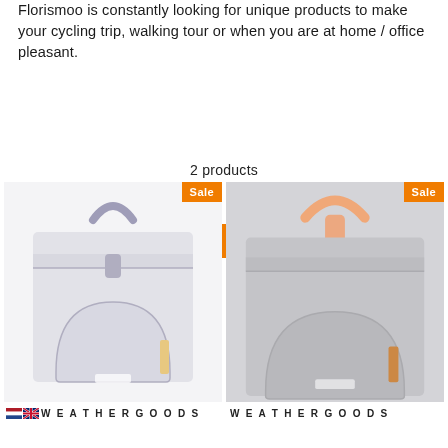Florismoo is constantly looking for unique products to make your cycling trip, walking tour or when you are at home / office pleasant.
[Figure (other): Orange filter button with filter icon and text 'Filter (1)']
2 products
[Figure (photo): White/light gray lunch bag with gray handle and blue-gray tab, showing front pocket with rounded top and orange strap detail. Sale badge in top right corner.]
[Figure (photo): Gray lunch bag with salmon/peach handle and tab, showing front pocket with rounded top and orange strap detail. Sale badge in top right corner.]
🇳🇱🇬🇧 W E A T H E R G O O D S
W E A T H E R G O O D S